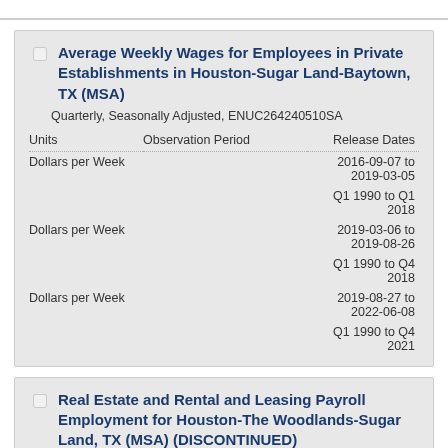| Units | Observation Period | Release Dates |
| --- | --- | --- |
| Dollars per Week |  | 2016-09-07 to 2019-03-05 |
|  |  | Q1 1990 to Q1 2018 |
| Dollars per Week |  | 2019-03-06 to 2019-08-26 |
|  |  | Q1 1990 to Q4 2018 |
| Dollars per Week |  | 2019-08-27 to 2022-06-08 |
|  |  | Q1 1990 to Q4 2021 |
| Units | Observation Period | Release Dates |
| --- | --- | --- |